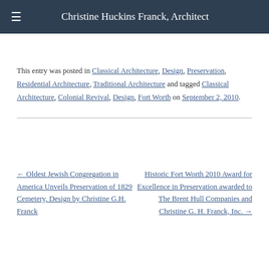Christine Huckins Franck, Architect
This entry was posted in Classical Architecture, Design, Preservation, Residential Architecture, Traditional Architecture and tagged Classical Architecture, Colonial Revival, Design, Fort Worth on September 2, 2010.
← Oldest Jewish Congregation in America Unveils Preservation of 1829 Cemetery, Design by Christine G.H. Franck
Historic Fort Worth 2010 Award for Excellence in Preservation awarded to The Brent Hull Companies and Christine G. H. Franck, Inc. →